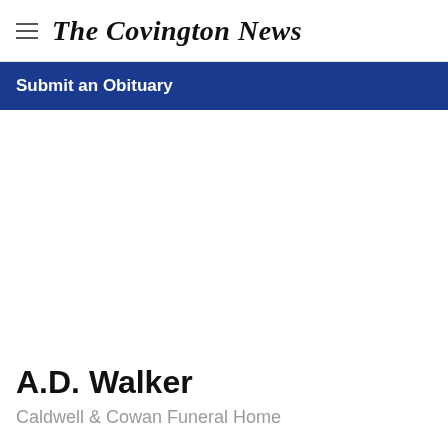The Covington News
Submit an Obituary
A.D. Walker
Caldwell & Cowan Funeral Home